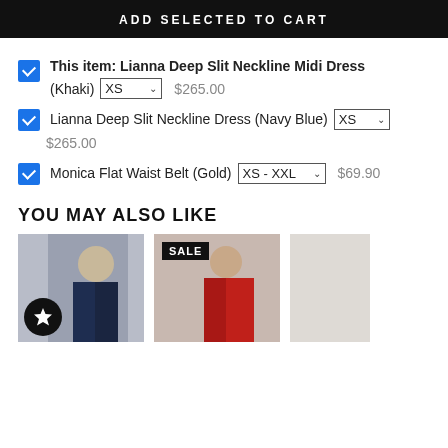ADD SELECTED TO CART
This item: Lianna Deep Slit Neckline Midi Dress (Khaki) XS $265.00
Lianna Deep Slit Neckline Dress (Navy Blue) XS $265.00
Monica Flat Waist Belt (Gold) XS - XXL $69.90
YOU MAY ALSO LIKE
[Figure (photo): Product photo of navy dress on model with star/wishlist icon overlay]
[Figure (photo): Product photo of red dress on model with SALE badge overlay]
[Figure (photo): Product photo partially visible, light background]